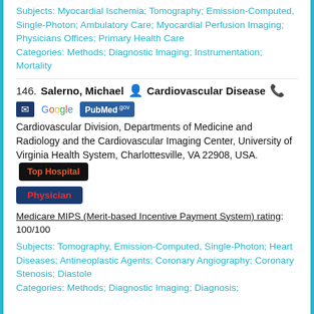Subjects: Myocardial Ischemia; Tomography; Emission-Computed, Single-Photon; Ambulatory Care; Myocardial Perfusion Imaging; Physicians Offices; Primary Health Care
Categories: Methods; Diagnostic Imaging; Instrumentation; Mortality
146. Salerno, Michael — Cardiovascular Disease
[Figure (logo): Email icon, Google logo, PubMed.gov badge]
Cardiovascular Division, Departments of Medicine and Radiology and the Cardiovascular Imaging Center, University of Virginia Health System, Charlottesville, VA 22908, USA.
Top Hospital
Physician
Medicare MIPS (Merit-based Incentive Payment System) rating: 100/100
Subjects: Tomography, Emission-Computed, Single-Photon; Heart Diseases; Antineoplastic Agents; Coronary Angiography; Coronary Stenosis; Diastole
Categories: Methods; Diagnostic Imaging; Diagnosis;